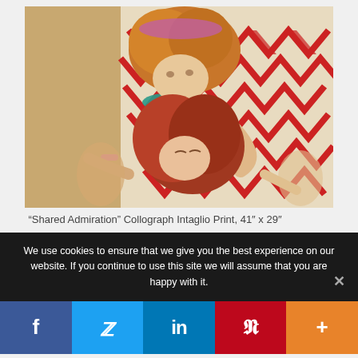[Figure (illustration): Artwork showing two figures with curly red/auburn hair, one embracing the other from behind. Both are wrapped in a garment with a bold red and white zigzag/chevron pattern. The upper figure has a pink headband and teal necklace. Drawn in a detailed figurative style with warm beige background tones.]
“Shared Admiration” Collograph Intaglio Print, 41″ x 29″
We use cookies to ensure that we give you the best experience on our website. If you continue to use this site we will assume that you are happy with it.